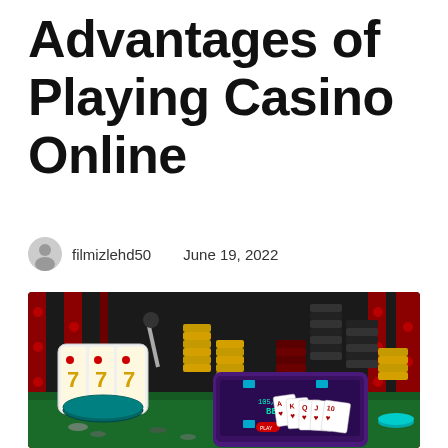Advantages of Playing Casino Online
filmizlehd50   June 19, 2022
[Figure (photo): Casino-themed 3D illustration showing a slot machine with 777, stacks of gold, black, dark red and teal poker chips, a purple smartphone displaying a casino game with playing cards (A K Q J 10 of hearts), and a green felt table background with red dot curtain backdrop.]